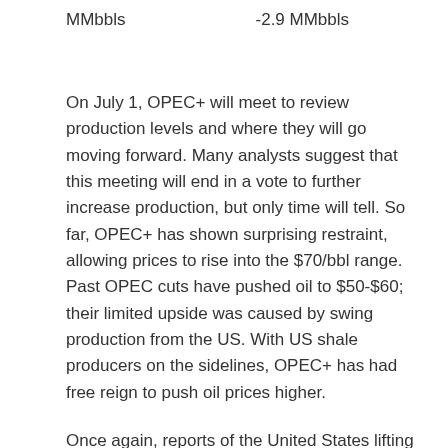MMbbls                -2.9 MMbbls
On July 1, OPEC+ will meet to review production levels and where they will go moving forward. Many analysts suggest that this meeting will end in a vote to further increase production, but only time will tell. So far, OPEC+ has shown surprising restraint, allowing prices to rise into the $70/bbl range. Past OPEC cuts have pushed oil to $50-$60; their limited upside was caused by swing production from the US. With US shale producers on the sidelines, OPEC+ has had free reign to push oil prices higher.
Once again, reports of the United States lifting sanctions on Iran have made headlines recently. While the United States has agreed to remove certain oil sanctions for Iran, there are still many moving parts